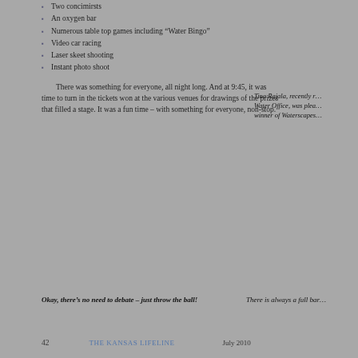Two concimirsts
An oxygen bar
Numerous table top games including “Water Bingo”
Video car racing
Laser skeet shooting
Instant photo shoot
There was something for everyone, all night long. And at 9:45, it was time to turn in the tickets won at the various venues for drawings of the prizes that filled a stage. It was a fun time – with something for everyone, non-stop.
Tina Rajala, recently r... Water Office, was plea... winner of Waterscapes...
Okay, there’s no need to debate – just throw the ball!
There is always a full bar...
42   THE KANSAS LIFELINE   July 2010